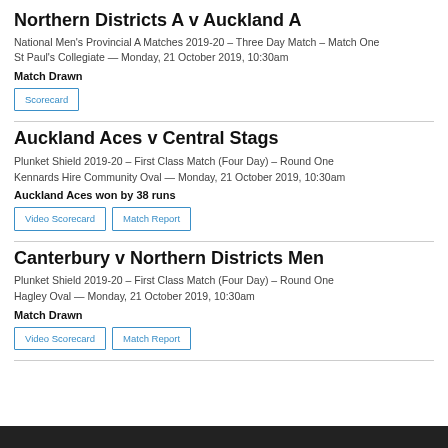Northern Districts A v Auckland A
National Men's Provincial A Matches 2019-20 – Three Day Match – Match One
St Paul's Collegiate  —  Monday, 21 October 2019, 10:30am
Match Drawn
Scorecard
Auckland Aces v Central Stags
Plunket Shield 2019-20 – First Class Match (Four Day) – Round One
Kennards Hire Community Oval  —  Monday, 21 October 2019, 10:30am
Auckland Aces won by 38 runs
Video Scorecard   Match Report
Canterbury v Northern Districts Men
Plunket Shield 2019-20 – First Class Match (Four Day) – Round One
Hagley Oval  —  Monday, 21 October 2019, 10:30am
Match Drawn
Video Scorecard   Match Report